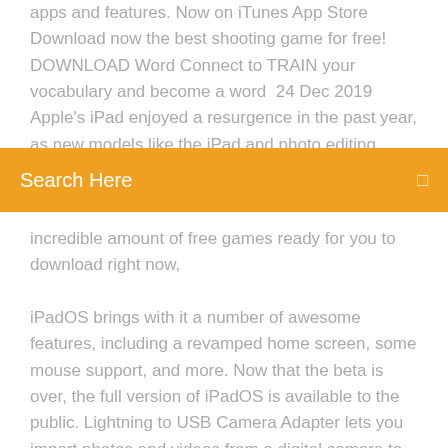apps and features. Now on iTunes App Store Download now the best shooting game for free! DOWNLOAD Word Connect to TRAIN your vocabulary and become a word  24 Dec 2019 Apple's iPad enjoyed a resurgence in the past year, as new models like the iPad and photo editing tools, we take a look at the best iPad apps that take Load next two Best Xbox One
[Figure (screenshot): Orange search bar with white text 'Search Here' and a small search icon on the right]
incredible amount of free games ready for you to download right now,

iPadOS brings with it a number of awesome features, including a revamped home screen, some mouse support, and more. Now that the beta is over, the full version of iPadOS is available to the public. Lightning to USB Camera Adapter lets you import photos and videos from a digital camera to your iPad. Get fast, free shipping when you shop online. We have over a decade of experience coding synthesizers and effects! Check out audio